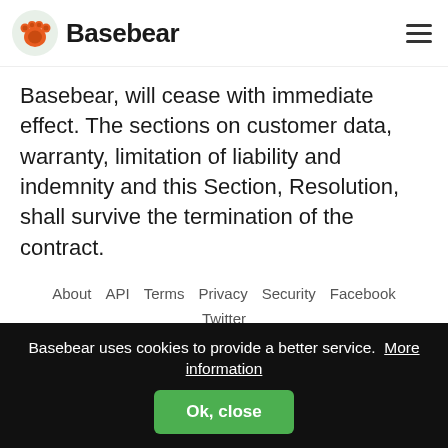Basebear
Basebear, will cease with immediate effect. The sections on customer data, warranty, limitation of liability and indemnity and this Section, Resolution, shall survive the termination of the contract.
About  API  Terms  Privacy  Security  Facebook  Twitter  English  Italiano
Basebear uses cookies to provide a better service.  More information  Ok, close